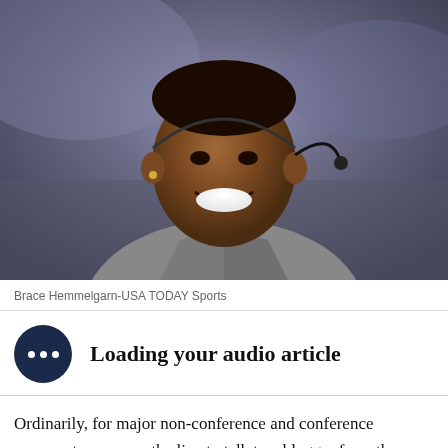[Figure (photo): A smiling Black man in a grey suit with a purple tie and a microphone headset, photographed indoors, likely a sports broadcaster on a sideline.]
Brace Hemmelgarn-USA TODAY Sports
Loading your audio article
Ordinarily, for major non-conference and conference opponents we cross the line to talk to a blogger from the other side. Instead of talking to a blogger for